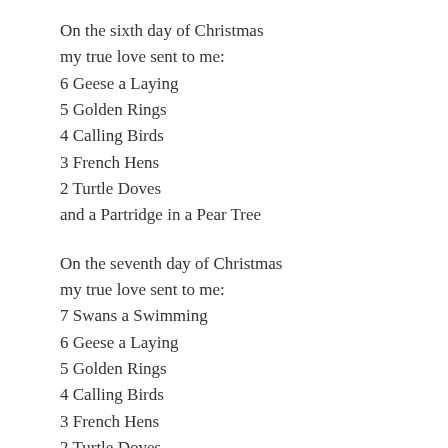On the sixth day of Christmas my true love sent to me:
6 Geese a Laying
5 Golden Rings
4 Calling Birds
3 French Hens
2 Turtle Doves
and a Partridge in a Pear Tree
On the seventh day of Christmas my true love sent to me:
7 Swans a Swimming
6 Geese a Laying
5 Golden Rings
4 Calling Birds
3 French Hens
2 Turtle Doves
and a Partridge in a Pear Tree